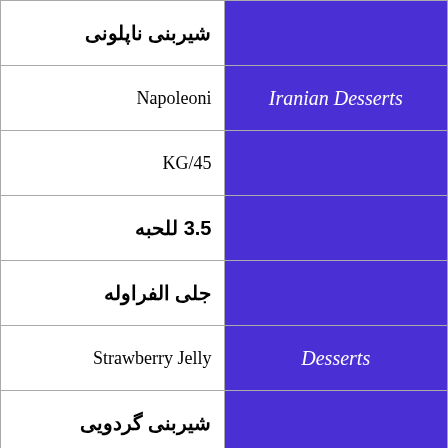| شیربنی ناپلونی |  |
| Napoleoni | Iranian Desserts |
| KG/45 |  |
| 3.5 للحبه |  |
| جلى الفراوله |  |
| Strawberry Jelly | Desserts |
| شیربنی گردویی |  |